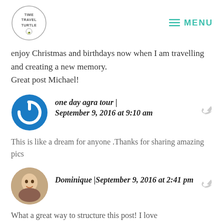TIME TRAVEL TURTLE | MENU
enjoy Christmas and birthdays now when I am travelling and creating a new memory.
Great post Michael!
one day agra tour | September 9, 2016 at 9:10 am
This is like a dream for anyone .Thanks for sharing amazing pics
Dominique | September 9, 2016 at 2:41 pm
What a great way to structure this post! I love